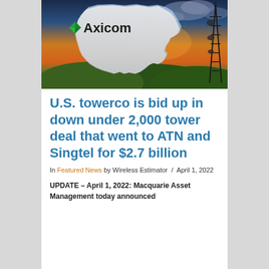[Figure (photo): Hero image showing Axicom logo over a map outline of Australia with a sunset/landscape background and a telecommunications tower on the right side]
U.S. towerco is bid up in down under 2,000 tower deal that went to ATN and Singtel for $2.7 billion
In Featured News by Wireless Estimator / April 1, 2022
UPDATE – April 1, 2022: Macquarie Asset Management today announced